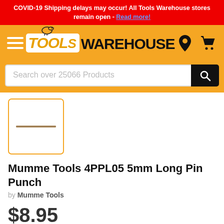COVID-19 Shipping delays may occur! All Tools Warehouse stores remain open - Read more!
[Figure (logo): Tools Warehouse logo with hamburger menu, location icon, and cart icon on orange background]
Search over 25066 Products
[Figure (photo): Product thumbnail image showing a pin punch (long thin metal tool) inside an orange-bordered box]
Mumme Tools 4PPL05 5mm Long Pin Punch
by Mumme Tools
$8.95
Quantity 1 Add to Cart